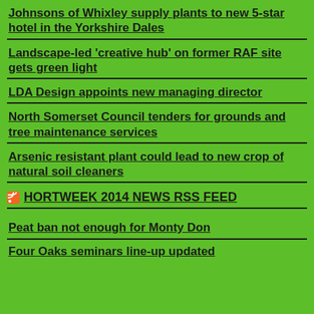Johnsons of Whixley supply plants to new 5-star hotel in the Yorkshire Dales
Landscape-led 'creative hub' on former RAF site gets green light
LDA Design appoints new managing director
North Somerset Council tenders for grounds and tree maintenance services
Arsenic resistant plant could lead to new crop of natural soil cleaners
HORTWEEK 2014 NEWS RSS FEED
Peat ban not enough for Monty Don
Four Oaks seminars line-up updated